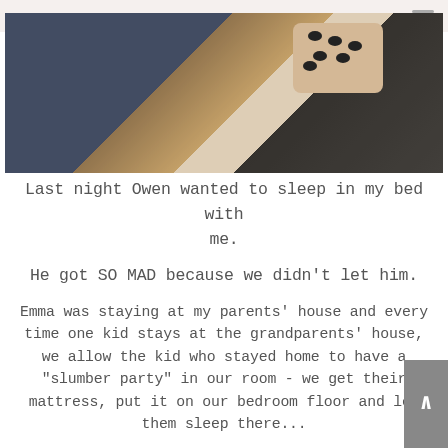[Figure (photo): Close-up photo of people in bed; shows dark navy clothing, a woman with brown hair and leopard print headband/scarf, and dark jacket on right side.]
Last night Owen wanted to sleep in my bed with me.
He got SO MAD because we didn't let him.
Emma was staying at my parents' house and every time one kid stays at the grandparents' house, we allow the kid who stayed home to have a “slumber party” in our room - we get their mattress, put it on our bedroom floor and let them sleep there...